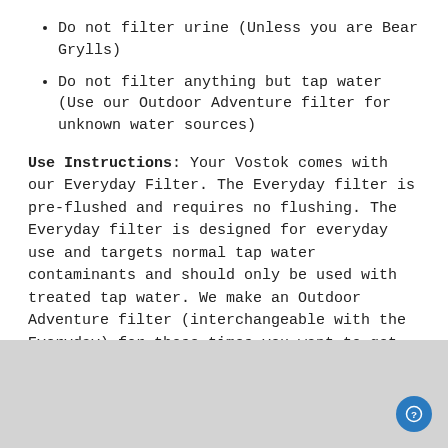Do not filter urine (Unless you are Bear Grylls)
Do not filter anything but tap water (Use our Outdoor Adventure filter for unknown water sources)
Use Instructions: Your Vostok comes with our Everyday Filter. The Everyday filter is pre-flushed and requires no flushing. The Everyday filter is designed for everyday use and targets normal tap water contaminants and should only be used with treated tap water. We make an Outdoor Adventure filter (interchangeable with the Everyday) for those times you want to get wild.
What Does This Filter Remove? Everyday Filter Test Results.